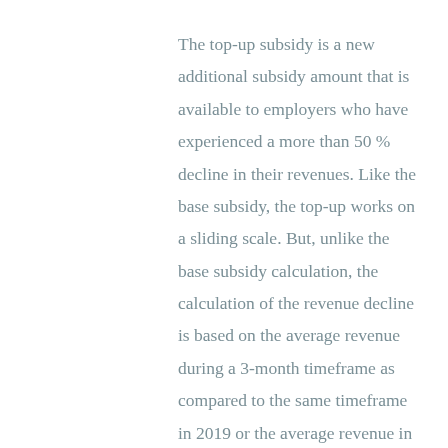The top-up subsidy is a new additional subsidy amount that is available to employers who have experienced a more than 50 % decline in their revenues. Like the base subsidy, the top-up works on a sliding scale. But, unlike the base subsidy calculation, the calculation of the revenue decline is based on the average revenue during a 3-month timeframe as compared to the same timeframe in 2019 or the average revenue in January and February 2020. The maximum top-up subsidy, for employers with a reduction in revenue of 70% or more, is 25% of their revenue decline that exceeds 50%. Sound